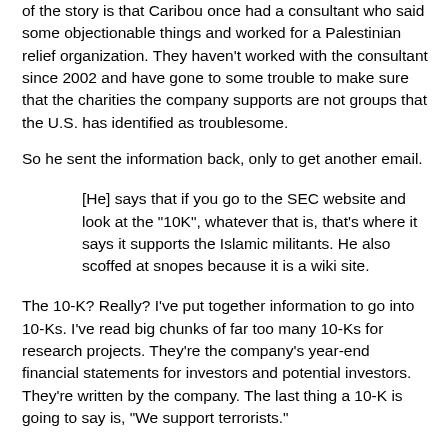of the story is that Caribou once had a consultant who said some objectionable things and worked for a Palestinian relief organization. They haven't worked with the consultant since 2002 and have gone to some trouble to make sure that the charities the company supports are not groups that the U.S. has identified as troublesome.
So he sent the information back, only to get another email.
[He] says that if you go to the SEC website and look at the "10K", whatever that is, that's where it says it supports the Islamic militants. He also scoffed at snopes because it is a wiki site.
The 10-K? Really? I've put together information to go into 10-Ks. I've read big chunks of far too many 10-Ks for research projects. They're the company's year-end financial statements for investors and potential investors. They're written by the company. The last thing a 10-K is going to say is, "We support terrorists."